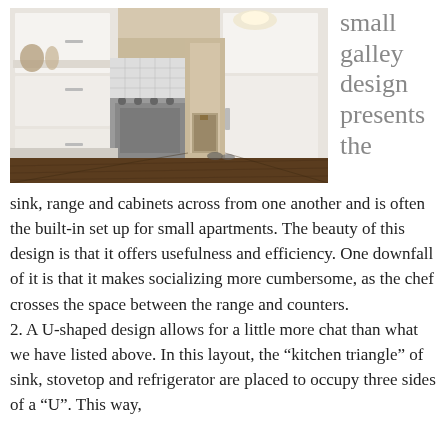[Figure (photo): Interior photo of a white galley kitchen with wood floors, white cabinets on both sides, stainless steel appliances including a range and refrigerator, with a hallway visible in the background.]
small galley design presents the
sink, range and cabinets across from one another and is often the built-in set up for small apartments. The beauty of this design is that it offers usefulness and efficiency. One downfall of it is that it makes socializing more cumbersome, as the chef crosses the space between the range and counters.
2. A U-shaped design allows for a little more chat than what we have listed above. In this layout, the “kitchen triangle” of sink, stovetop and refrigerator are placed to occupy three sides of a “U”. This way,